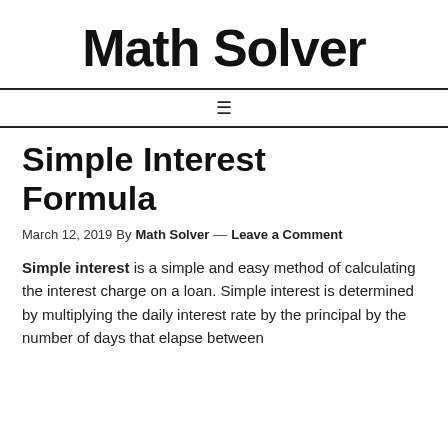Math Solver
Simple Interest Formula
March 12, 2019 By Math Solver — Leave a Comment
Simple interest is a simple and easy method of calculating the interest charge on a loan. Simple interest is determined by multiplying the daily interest rate by the principal by the number of days that elapse between